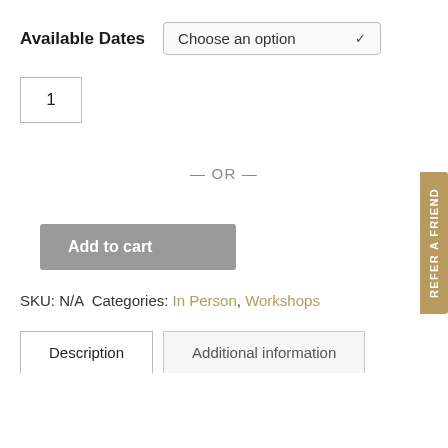Available Dates  Choose an option
1
— OR —
Add to cart
SKU: N/A  Categories: In Person, Workshops
Description
Additional information
REFER A FRIEND